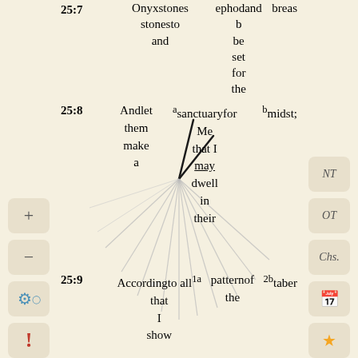25:7 Onyxstones stonesto ephodand b and be breas set for the
[Figure (illustration): Clock hands and radiating lines emanating from center of page, creating a sunburst or clock-like visual effect over the biblical text]
25:8 Andlet a sanctuary for b midst; them Me make that I a may dwell in their
25:9 Accordingto all 1a patternof 2b taber that the I show